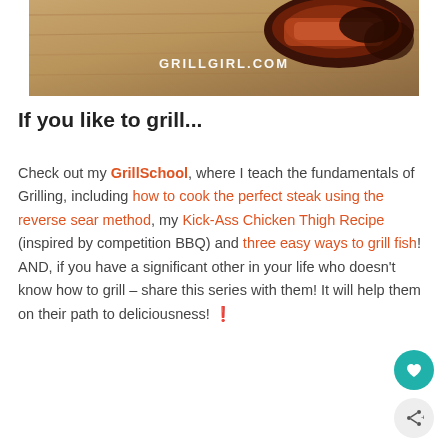[Figure (photo): Close-up photo of grilled/smoked meat on a wooden cutting board, with watermark GRILLGIRL.COM overlaid in white text]
If you like to grill...
Check out my GrillSchool, where I teach the fundamentals of Grilling, including how to cook the perfect steak using the reverse sear method, my Kick-Ass Chicken Thigh Recipe (inspired by competition BBQ) and three easy ways to grill fish! AND, if you have a significant other in your life who doesn't know how to grill – share this series with them! It will help them on their path to deliciousness! 🔥